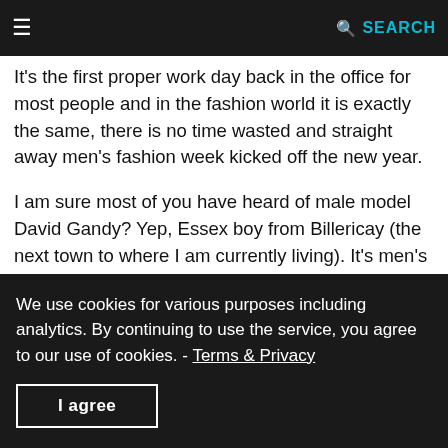≡  SEARCH
It's the first proper work day back in the office for most people and in the fashion world it is exactly the same, there is no time wasted and straight away men's fashion week kicked off the new year.
I am sure most of you have heard of male model David Gandy? Yep, Essex boy from Billericay (the next town to where I am currently living). It's men's fashion week so of course we can expect to see David Gandy and this morning I spotted a picture of him on twitter posted by Harrods. The very GORGEOUS Gandy was wearing glasses!!! He sure looks dashing anyway but with glasses… hubba, hubba! He will make any girls heart skip a beat or two but for me I would still always pick Bradley Cooper 😉
We use cookies for various purposes including analytics. By continuing to use the service, you agree to our use of cookies. - Terms & Privacy
I agree